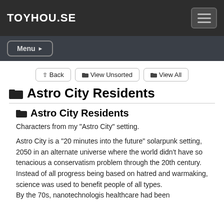TOYHOU.SE
Menu ▶
↑ Back | 🗂 View Unsorted | 🗂 View All
🗂 Astro City Residents
🗂 Astro City Residents
Characters from my "Astro City" setting.
Astro City is a "20 minutes into the future" solarpunk setting, 2050 in an alternate universe where the world didn't have so tenacious a conservatism problem through the 20th century.
Instead of all progress being based on hatred and warmaking, science was used to benefit people of all types.
By the 70s, nanotechnologis healthcare had been